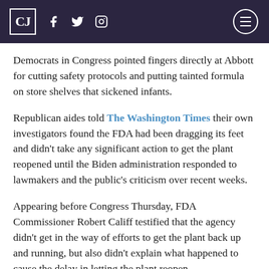CJ [logo] [facebook] [twitter] [instagram] [menu]
Democrats in Congress pointed fingers directly at Abbott for cutting safety protocols and putting tainted formula on store shelves that sickened infants.
Republican aides told The Washington Times their own investigators found the FDA had been dragging its feet and didn't take any significant action to get the plant reopened until the Biden administration responded to lawmakers and the public's criticism over recent weeks.
Appearing before Congress Thursday, FDA Commissioner Robert Califf testified that the agency didn't get in the way of efforts to get the plant back up and running, but also didn't explain what happened to cause the delay in letting the plant reopen.